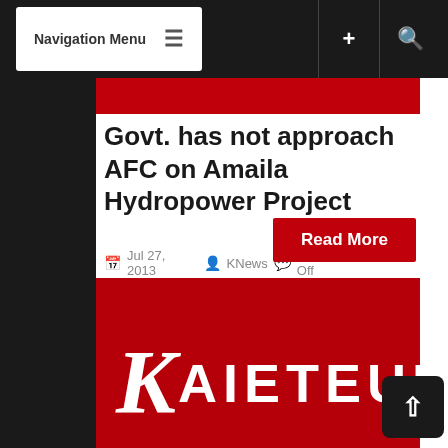Navigation Menu
[Figure (screenshot): Red banner image at top of article]
Govt. has not approach AFC on Amaila Hydropower Project
Jul 27, 2013  KNews  News Comments Off
Even as Government says that it wants to have the Amaila Falls Hydropower project on the front burner it has contacted the Alliance For Change (AFC) for discussions. However, the AFC,...
[Figure (logo): Kaieteur News logo on red background — large italic K followed by AIETEUR in white capital letters]